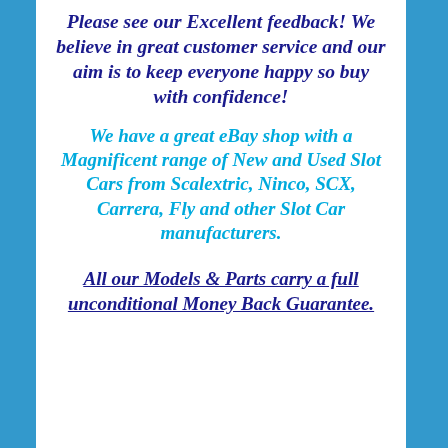Please see our Excellent feedback! We believe in great customer service and our aim is to keep everyone happy so buy with confidence!
We have a great eBay shop with a Magnificent range of New and Used Slot Cars from Scalextric, Ninco, SCX, Carrera, Fly and other Slot Car manufacturers.
All our Models & Parts carry a full unconditional Money Back Guarantee.